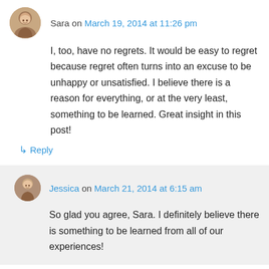Sara on March 19, 2014 at 11:26 pm
I, too, have no regrets. It would be easy to regret because regret often turns into an excuse to be unhappy or unsatisfied. I believe there is a reason for everything, or at the very least, something to be learned. Great insight in this post!
↳ Reply
Jessica on March 21, 2014 at 6:15 am
So glad you agree, Sara. I definitely believe there is something to be learned from all of our experiences!